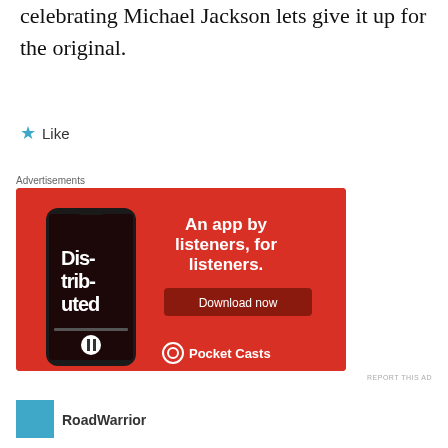celebrating Michael Jackson lets give it up for the original.
★ Like
Advertisements
[Figure (illustration): Pocket Casts advertisement on red background showing a smartphone with a podcast app open (showing 'Distributed' episode). Text reads: 'An app by listeners, for listeners.' with a 'Download now' button and the Pocket Casts logo at the bottom right.]
REPORT THIS AD
RoadWarrior